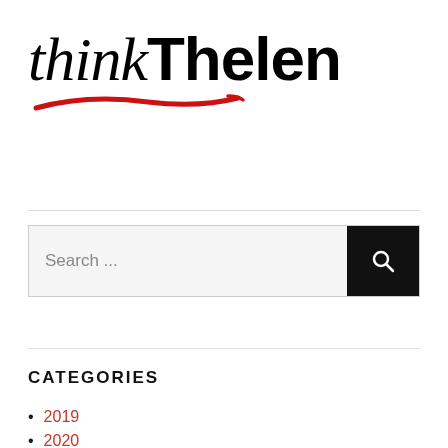[Figure (logo): thinkThelen logo with red swoosh underline. 'think' in serif italic and 'Thelen' in bold sans-serif, followed by a red brushstroke swoosh beneath.]
[Figure (other): Search bar with placeholder text 'Search ...' and a black search button with magnifying glass icon on the right.]
CATEGORIES
2019
2020